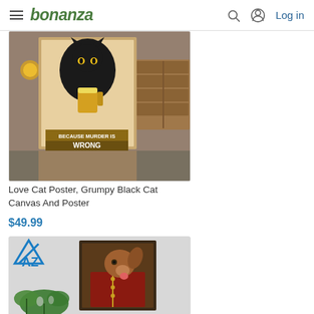bonanza — Log in
[Figure (photo): Product photo of a cat poster. A grumpy black cat holding a beer mug with text 'BECAUSE MURDER IS WRONG' and website 'AZHOBBYSHOP.COM'. Poster displayed on a table next to a wooden crate and lamp.]
Love Cat Poster, Grumpy Black Cat Canvas And Poster
$49.99
[Figure (photo): Product photo showing a dog portrait canvas. A brown dog's head photoshopped onto a regal figure in a red military jacket uniform. Canvas displayed on a wall with a monstera plant in the foreground.]